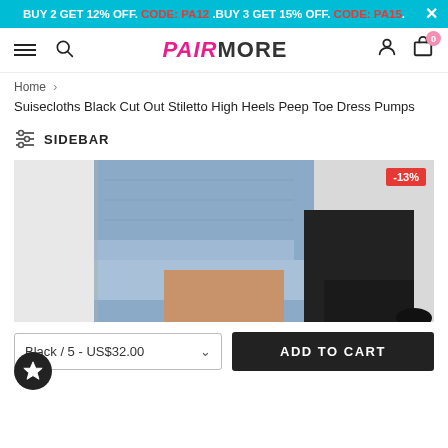BUY 2 GET 12% OFF. CODE: PA12 .BUY 3 GET 15% OFF. CODE: PA15.
[Figure (screenshot): PairMore e-commerce website navigation bar with hamburger menu, search icon, PAIRMORE logo, user icon, and cart with 0 badge]
Home > Suisecloths Black Cut Out Stiletto High Heels Peep Toe Dress Pumps
SIDEBAR
[Figure (photo): Product photo of black stiletto high heels peep toe dress pumps worn with rolled-up blue jeans, showing -13% discount badge]
Black / 5 - US$32.00
ADD TO CART